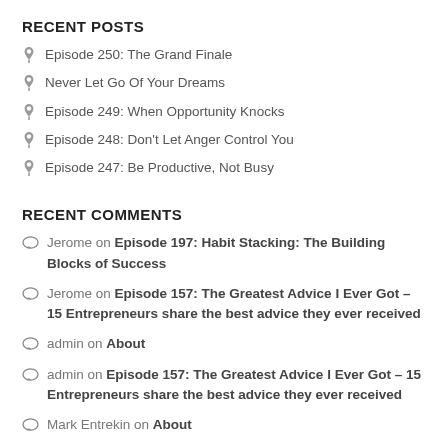RECENT POSTS
Episode 250: The Grand Finale
Never Let Go Of Your Dreams
Episode 249: When Opportunity Knocks
Episode 248: Don't Let Anger Control You
Episode 247: Be Productive, Not Busy
RECENT COMMENTS
Jerome on Episode 197: Habit Stacking: The Building Blocks of Success
Jerome on Episode 157: The Greatest Advice I Ever Got – 15 Entrepreneurs share the best advice they ever received
admin on About
admin on Episode 157: The Greatest Advice I Ever Got – 15 Entrepreneurs share the best advice they ever received
Mark Entrekin on About